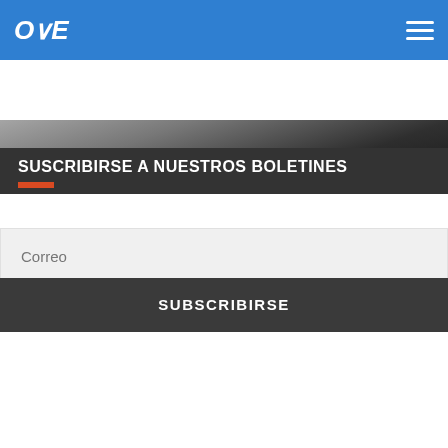OVE (Otras Voces en Educacion) - navigation header
[Figure (photo): Partial photo of a dark device/laptop at the top of the page]
SUSCRIBIRSE A NUESTROS BOLETINES
Correo
SUBSCRIBIRSE
OTRASVOCESENEDUCACION.ORG
Social media icons: Twitter, Facebook, Email, WhatsApp, SMS